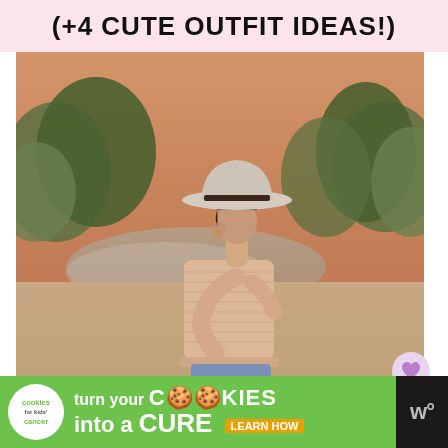(+4 CUTE OUTFIT IDEAS!)
[Figure (photo): A woman with short hair wearing a wide-brim felt hat, off-shoulder smocked crop top, and denim jeans, photographed outdoors near a lake at golden hour. Side profile pose with arms crossed.]
[Figure (infographic): Advertisement banner: Cookies for Kids' Cancer — turn your COOKIES into a CURE LEARN HOW]